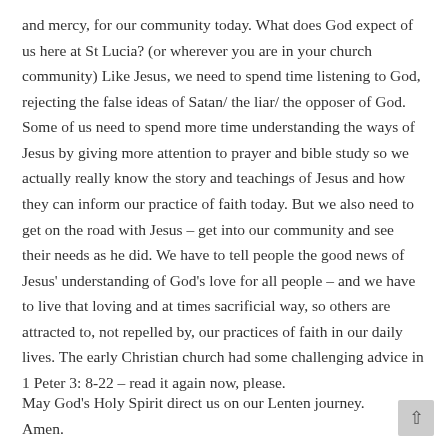and mercy, for our community today. What does God expect of us here at St Lucia? (or wherever you are in your church community) Like Jesus, we need to spend time listening to God, rejecting the false ideas of Satan/ the liar/ the opposer of God. Some of us need to spend more time understanding the ways of Jesus by giving more attention to prayer and bible study so we actually really know the story and teachings of Jesus and how they can inform our practice of faith today. But we also need to get on the road with Jesus – get into our community and see their needs as he did. We have to tell people the good news of Jesus' understanding of God's love for all people – and we have to live that loving and at times sacrificial way, so others are attracted to, not repelled by, our practices of faith in our daily lives. The early Christian church had some challenging advice in 1 Peter 3: 8-22 – read it again now, please.
May God's Holy Spirit direct us on our Lenten journey. Amen.